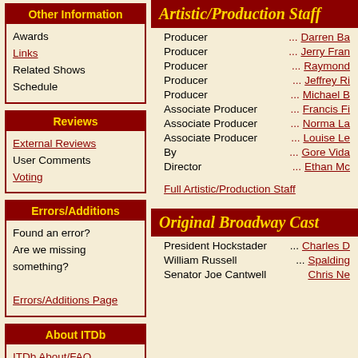Other Information
Awards
Links
Related Shows
Schedule
Reviews
External Reviews
User Comments
Voting
Errors/Additions
Found an error?
Are we missing something?
Errors/Additions Page
About ITDb
ITDb About/FAQ
Advertising info
Copyright info
Submission info
Artistic/Production Staff
| Role |  | Name |
| --- | --- | --- |
| Producer | ... | Darren Ba... |
| Producer | ... | Jerry Fran... |
| Producer | ... | Raymond ... |
| Producer | ... | Jeffrey Ri... |
| Producer | ... | Michael B... |
| Associate Producer | ... | Francis Fi... |
| Associate Producer | ... | Norma La... |
| Associate Producer | ... | Louise Le... |
| By | ... | Gore Vida... |
| Director | ... | Ethan Mc... |
Full Artistic/Production Staff
Original Broadway Cast
| Role |  | Name |
| --- | --- | --- |
| President Hockstader | ... | Charles D... |
| William Russell | ... | Spalding ... |
| Senator Joe Cantwell | ... | Chris Ne... |